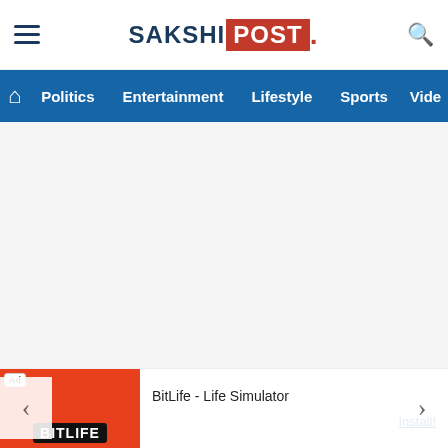SAKSHI POST
Politics  Entertainment  Lifestyle  Sports  Video
[Figure (other): Empty slider / carousel area with white background]
< Previous
APCabinet2.0: Kakani Govardhan Reddy Inducted in YS Jagan’s Cabinet
Next
AP CM YS Jagan Tribute To Mahatma Jyotirao Phule
[Figure (screenshot): Advertisement for BitLife - Life Simulator app with Install button]